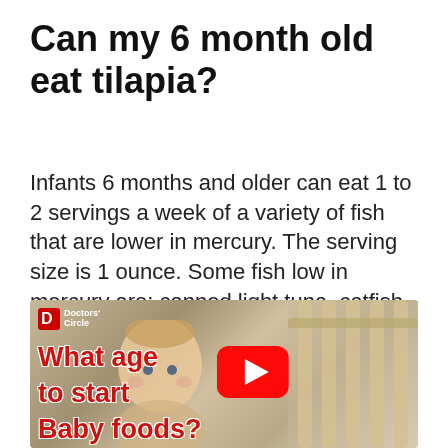Can my 6 month old eat tilapia?
Infants 6 months and older can eat 1 to 2 servings a week of a variety of fish that are lower in mercury. The serving size is 1 ounce. Some fish low in mercury are: canned light tuna, catfish (farm-raised), pollock, salmon, shad, tilapia, whitefish, and whiting.
[Figure (screenshot): YouTube video thumbnail showing a baby in a crib with red text overlay reading 'What age to start Baby foods?' and a YouTube play button. Doctors Circle logo in top left corner.]